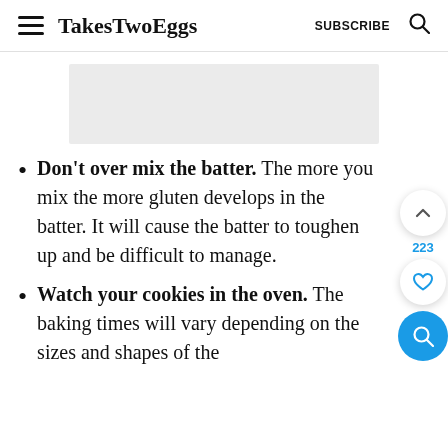TakesTwoEggs  SUBSCRIBE
[Figure (other): Gray advertisement placeholder banner]
Don't over mix the batter. The more you mix the more gluten develops in the batter. It will cause the batter to toughen up and be difficult to manage.
Watch your cookies in the oven. The baking times will vary depending on the sizes and shapes of the